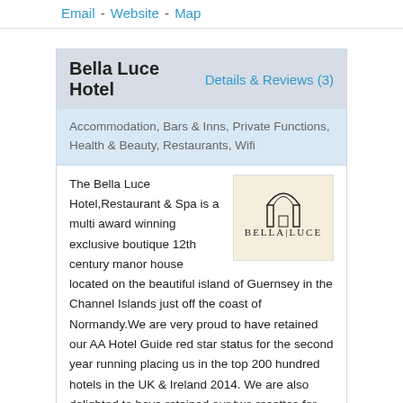Email - Website - Map
Bella Luce Hotel
Details & Reviews (3)
Accommodation, Bars & Inns, Private Functions, Health & Beauty, Restaurants, Wifi
[Figure (logo): Bella Luce hotel logo: arch/building icon above text BELLA|LUCE on cream background]
The Bella Luce Hotel,Restaurant & Spa is a multi award winning exclusive boutique 12th century manor house located on the beautiful island of Guernsey in the Channel Islands just off the coast of Normandy.We are very proud to have retained our AA Hotel Guide red star status for the second year running placing us in the top 200 hundred hotels in the UK & Ireland 2014. We are also delighted to have retained our two rosettes for good food and service along with the highest amount of accolades in Guernsey received from Visit Britain/Guernsey. We are under three mile from Guernsey airport and the capital St Peter Port .The Bella Luce setting is in the beautiful village of St Martins with its tranquil green lanes and just a short stroll from the Southern Bay of Moulin Huet that inspired Renoir with some of his finest paintings. Victor Hugo, the writer of Les Miserables also lived in